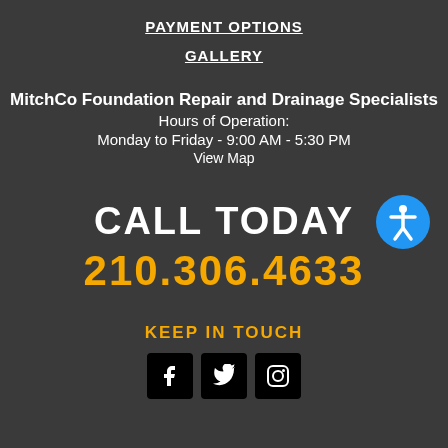PAYMENT OPTIONS
GALLERY
MitchCo Foundation Repair and Drainage Specialists
Hours of Operation:
Monday to Friday - 9:00 AM - 5:30 PM
View Map
CALL TODAY
210.306.4633
KEEP IN TOUCH
[Figure (infographic): Social media icons: Facebook, Twitter, Instagram in black square boxes]